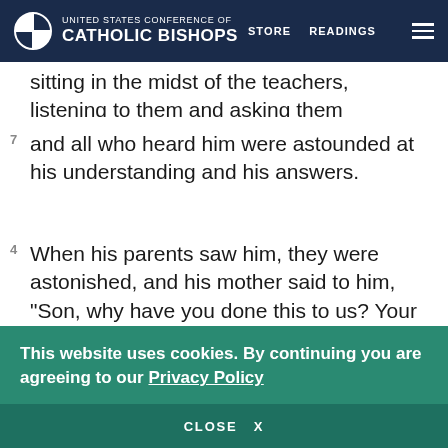UNITED STATES CONFERENCE OF CATHOLIC BISHOPS | STORE | READINGS
sitting in the midst of the teachers, listening to them and asking them questions,
and all who heard him were astounded at his understanding and his answers.
When his parents saw him, they were astonished, and his mother said to him, “Son, why have you done this to us? Your father and I have been looking for you with great anxiety.”
This website uses cookies. By continuing you are agreeing to our Privacy Policy
CLOSE  X